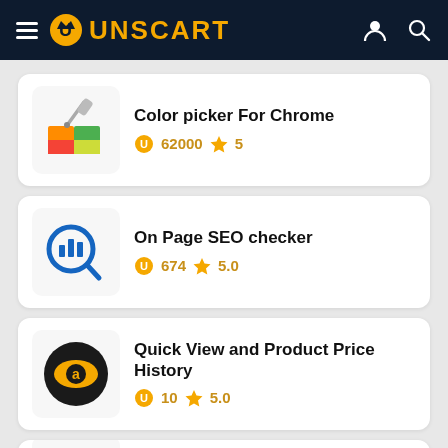UNSCART
Color picker For Chrome
62000 ★ 5
On Page SEO checker
674 ★ 5.0
Quick View and Product Price History
10 ★ 5.0
Volume Master